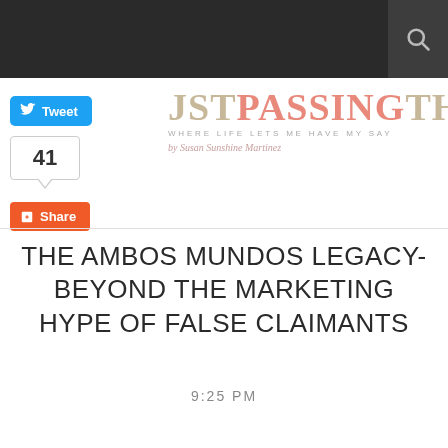JSTPASSINGTHRU — WHERE LIFE LETS ME HAVE MY SAY
[Figure (logo): JSTPASSINGTHRU blog logo with tagline 'WHERE LIFE LETS ME HAVE MY SAY' and author name in script]
[Figure (screenshot): Twitter Tweet button (blue) and share count bubble showing 41, plus orange Share button]
THE AMBOS MUNDOS LEGACY- BEYOND THE MARKETING HYPE OF FALSE CLAIMANTS
9:25 PM